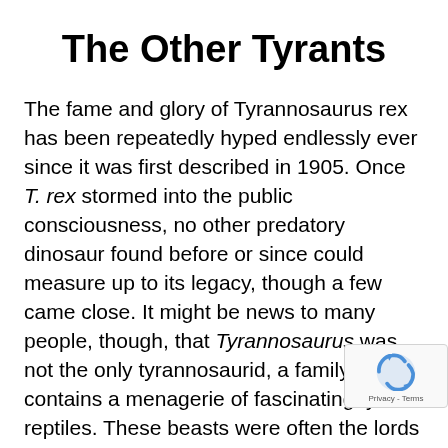The Other Tyrants
The fame and glory of Tyrannosaurus rex has been repeatedly hyped endlessly ever since it was first described in 1905. Once T. rex stormed into the public consciousness, no other predatory dinosaur found before or since could measure up to its legacy, though a few came close. It might be news to many people, though, that Tyrannosaurus was not the only tyrannosaurid, a family which contains a menagerie of fascinating tyrant reptiles. These beasts were often the lords of their doma[ins] millions of years before old 'rex' appeared [on the] scene, so let's take a little survey of them now.